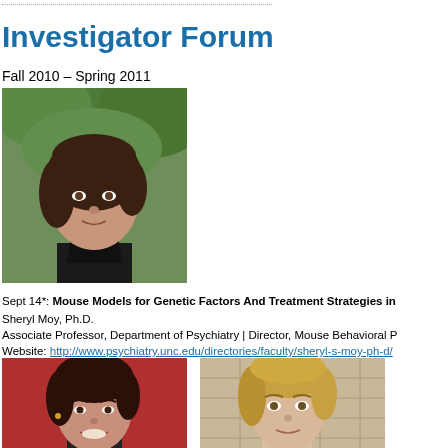Investigator Forum
Fall 2010 – Spring 2011
[Figure (photo): Portrait photo of Sheryl Moy, Ph.D. — woman with dark shoulder-length hair, wearing a black jacket, standing outdoors with green foliage in background]
Sept 14*: Mouse Models for Genetic Factors And Treatment Strategies in
Sheryl Moy, Ph.D.
Associate Professor, Department of Psychiatry | Director, Mouse Behavioral P
Website: http://www.psychiatry.unc.edu/directories/faculty/sheryl-s-moy-ph-d/
[Figure (photo): Portrait photo of a woman with short dark hair, smiling, against a red background]
[Figure (photo): Portrait photo of a woman with blonde hair, against a light background with grid pattern]